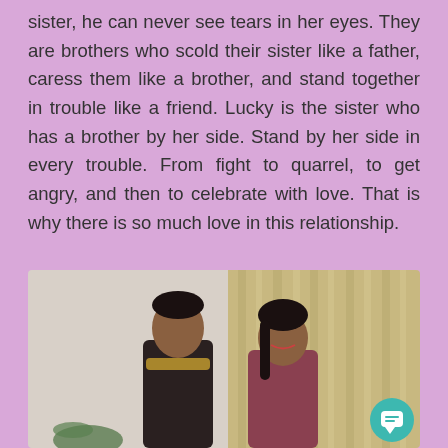sister, he can never see tears in her eyes. They are brothers who scold their sister like a father, caress them like a brother, and stand together in trouble like a friend. Lucky is the sister who has a brother by her side. Stand by her side in every trouble. From fight to quarrel, to get angry, and then to celebrate with love. That is why there is so much love in this relationship.
[Figure (photo): A young man and a young woman posing together indoors. The man is on the left wearing dark clothing with a garland, and the woman is on the right smiling, with a curtained background. A teal chat icon button is visible in the bottom right corner.]